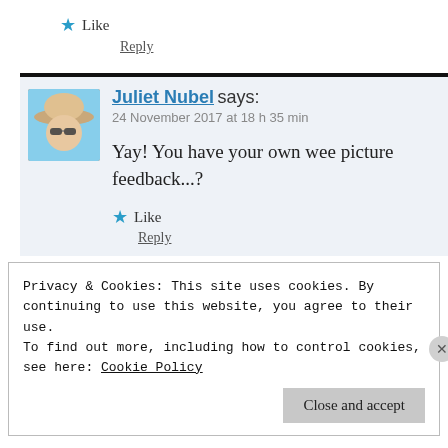★ Like
Reply
Juliet Nubel says:
24 November 2017 at 18 h 35 min
Yay! You have your own wee picture feedback...?
★ Like
Reply
Privacy & Cookies: This site uses cookies. By continuing to use this website, you agree to their use.
To find out more, including how to control cookies, see here: Cookie Policy
Close and accept